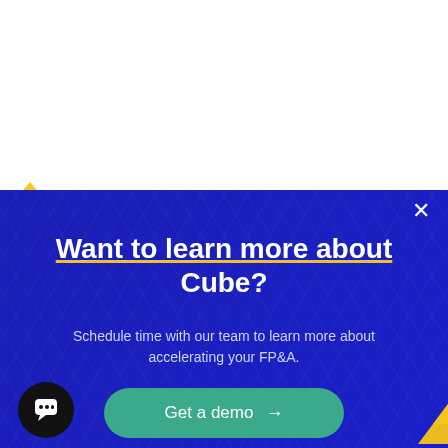So which FP&A software solution and vendor should you choose? That depends on your needs, size, and the software already deployed in your back-office.
For mid-market companies looking for an intuitive and feature-filled FP&A software that brings the...
Want to learn more about Cube?
Schedule time with our team to learn more about accelerating your FP&A.
Get a demo →